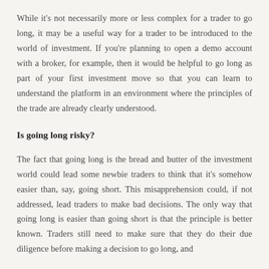While it's not necessarily more or less complex for a trader to go long, it may be a useful way for a trader to be introduced to the world of investment. If you're planning to open a demo account with a broker, for example, then it would be helpful to go long as part of your first investment move so that you can learn to understand the platform in an environment where the principles of the trade are already clearly understood.
Is going long risky?
The fact that going long is the bread and butter of the investment world could lead some newbie traders to think that it's somehow easier than, say, going short. This misapprehension could, if not addressed, lead traders to make bad decisions. The only way that going long is easier than going short is that the principle is better known. Traders still need to make sure that they do their due diligence before making a decision to go long, and